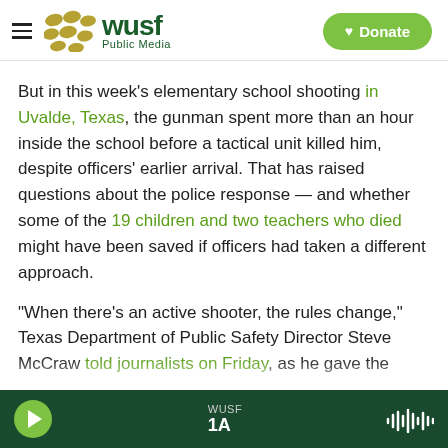[Figure (logo): WUSF Public Media logo with hamburger menu and green Donate button]
But in this week's elementary school shooting in Uvalde, Texas, the gunman spent more than an hour inside the school before a tactical unit killed him, despite officers' earlier arrival. That has raised questions about the police response — and whether some of the 19 children and two teachers who died might have been saved if officers had taken a different approach.
"When there's an active shooter, the rules change," Texas Department of Public Safety Director Steve McCraw told journalists on Friday, as he gave the
WUSF  1A  [audio player]